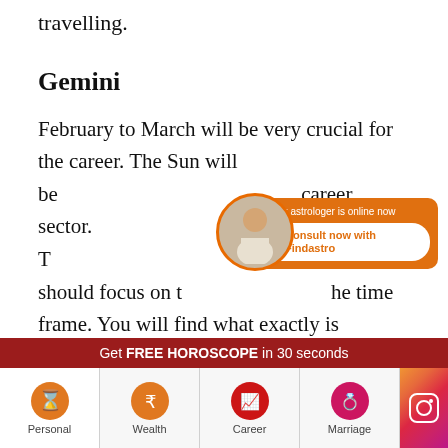travelling.
Gemini
February to March will be very crucial for the career. The Sun will be ... career sector. T... should focus on the time frame. You will find what exactly is happening to your career sector during these months. Some challenges can come to the workplace during October as well. It can be work burden or issues with your colleagues. November to December is the time to enter new deals. You should
[Figure (infographic): Orange popup banner with astrologer avatar, green dot 'Our astrologer is online now', and 'Consult now with Findastro' button]
Get FREE HOROSCOPE in 30 seconds
[Figure (infographic): Bottom navigation bar with Personal (hourglass), Wealth (rupee), Career (chart+person), Marriage (rings) icons and Instagram icon]